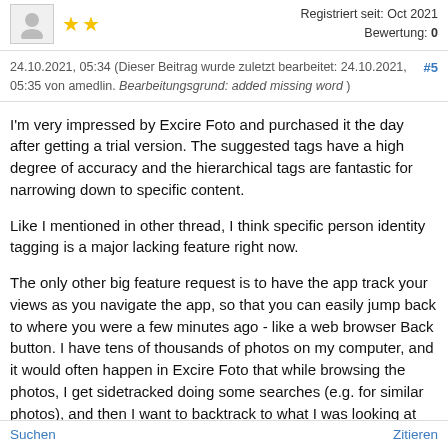Registriert seit: Oct 2021  Bewertung: 0  ★★
24.10.2021, 05:34 (Dieser Beitrag wurde zuletzt bearbeitet: 24.10.2021, 05:35 von amedlin. Bearbeitungsgrund: added missing word ) #5
I'm very impressed by Excire Foto and purchased it the day after getting a trial version. The suggested tags have a high degree of accuracy and the hierarchical tags are fantastic for narrowing down to specific content.
Like I mentioned in other thread, I think specific person identity tagging is a major lacking feature right now.
The only other big feature request is to have the app track your views as you navigate the app, so that you can easily jump back to where you were a few minutes ago - like a web browser Back button. I have tens of thousands of photos on my computer, and it would often happen in Excire Foto that while browsing the photos, I get sidetracked doing some searches (e.g. for similar photos), and then I want to backtrack to what I was looking at before the search. But I can't find a way to do it, so I lose where I was up to.
Suchen    Zitieren